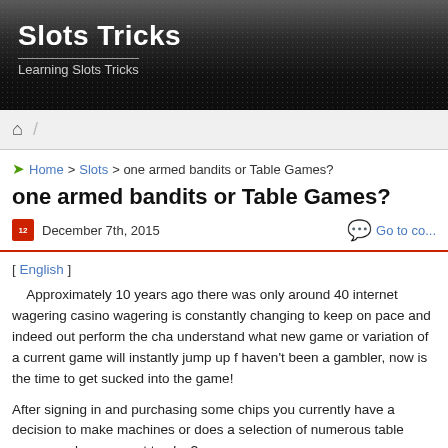Slots Tricks
Learning Slots Tricks
Home > Slots > one armed bandits or Table Games?
one armed bandits or Table Games?
December 7th, 2015   Go to co...
[ English ]
Approximately 10 years ago there was only around 40 internet wagering casino wagering is constantly changing to keep on pace and indeed out perform the cha understand what new game or variation of a current game will instantly jump up f haven't been a gambler, now is the time to get sucked into the game!
After signing in and purchasing some chips you currently have a decision to make machines or does a selection of numerous table games make you want to play?
If you have dreamt of hitting a giant jackpot then the slots are the option for you. gambling halls promise you ninety-eight % payout and all of the expected fervor a so skilled at to lure you in. But after the initial excitement of wagering on the slot for greater enjoyment?